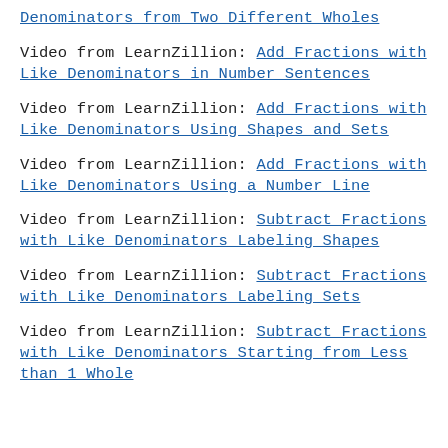Video from LearnZillion: Denominators from Two Different Wholes
Video from LearnZillion: Add Fractions with Like Denominators in Number Sentences
Video from LearnZillion: Add Fractions with Like Denominators Using Shapes and Sets
Video from LearnZillion: Add Fractions with Like Denominators Using a Number Line
Video from LearnZillion: Subtract Fractions with Like Denominators Labeling Shapes
Video from LearnZillion: Subtract Fractions with Like Denominators Labeling Sets
Video from LearnZillion: Subtract Fractions with Like Denominators Starting from Less than 1 Whole